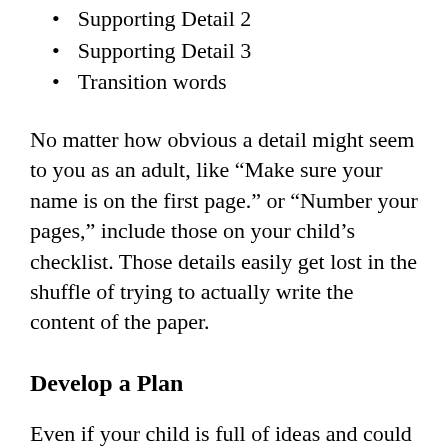Supporting Detail 2
Supporting Detail 3
Transition words
No matter how obvious a detail might seem to you as an adult, like “Make sure your name is on the first page.” or “Number your pages,” include those on your child’s checklist. Those details easily get lost in the shuffle of trying to actually write the content of the paper.
Develop a Plan
Even if your child is full of ideas and could discuss a topic all day, the idea of writing it down in a formal essay can be overwhelming